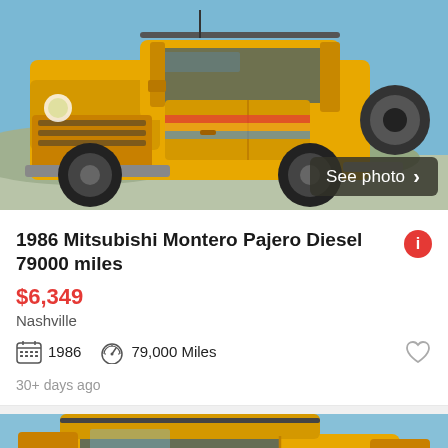[Figure (photo): Yellow 1986 Mitsubishi Montero Pajero 4x4 vehicle photographed outdoors against a blue sky background, front-angled view showing the full vehicle with large off-road tires. A 'See photo >' button overlay is visible in the lower right corner.]
1986 Mitsubishi Montero Pajero Diesel 79000 miles
$6,349
Nashville
1986   79,000 Miles
30+ days ago
[Figure (photo): Yellow 1986 Mitsubishi Montero Pajero 4x4 vehicle photographed outdoors, second listing photo showing a partial view from a slightly different angle, top portion of vehicle visible.]